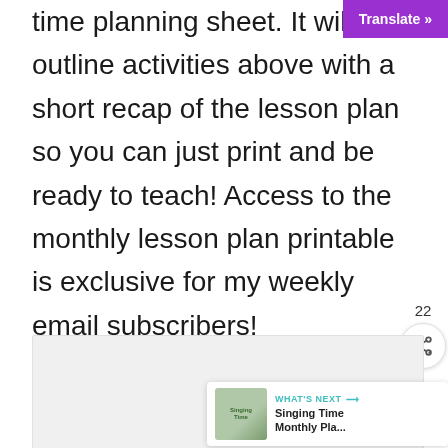[Figure (screenshot): Purple 'Translate »' button in top right corner]
time planning sheet. It will outline activities above with a short recap of the lesson plan so you can just print and be ready to teach! Access to the monthly lesson plan printable is exclusive for my weekly email subscribers!
[Figure (screenshot): Heart/like button (teal circle with heart icon), share count of 22, and share button]
[Figure (screenshot): Light gray image placeholder box]
[Figure (screenshot): "WHAT'S NEXT" widget showing 'Singing Time Monthly Pla...' with thumbnail]